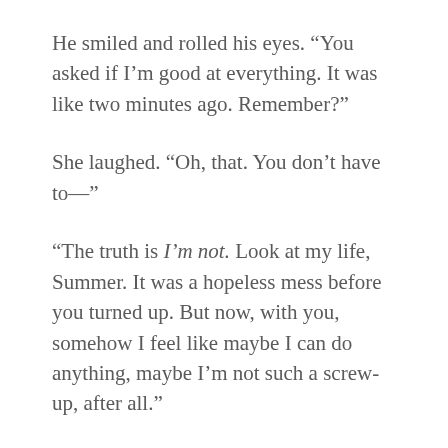He smiled and rolled his eyes. “You asked if I’m good at everything. It was like two minutes ago. Remember?”
She laughed. “Oh, that. You don’t have to—”
“The truth is I’m not. Look at my life, Summer. It was a hopeless mess before you turned up. But now, with you, somehow I feel like maybe I can do anything, maybe I’m not such a screw-up, after all.”
“Because of me?” she squeaked.